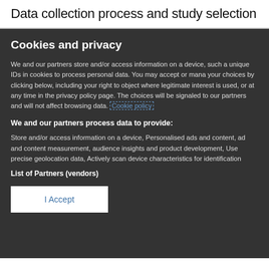Data collection process and study selection
Cookies and privacy
We and our partners store and/or access information on a device, such a unique IDs in cookies to process personal data. You may accept or manage your choices by clicking below, including your right to object where legitimate interest is used, or at any time in the privacy policy page. These choices will be signaled to our partners and will not affect browsing data. Cookie policy
We and our partners process data to provide:
Store and/or access information on a device, Personalised ads and content, ad and content measurement, audience insights and product development, Use precise geolocation data, Actively scan device characteristics for identification
List of Partners (vendors)
I Accept